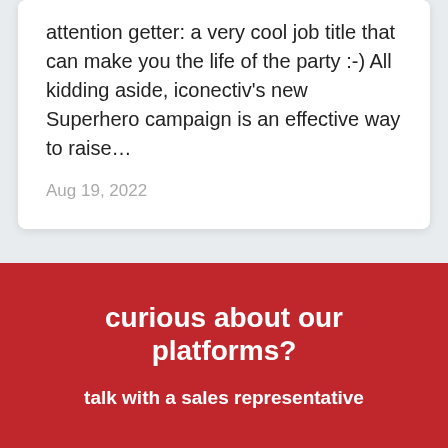attention getter: a very cool job title that can make you the life of the party :-) All kidding aside, iconectiv's new Superhero campaign is an effective way to raise…
Aug 19, 2022
[Figure (other): Carousel pagination dots: one red active dot followed by four grey inactive dots]
curious about our platforms?
talk with a sales representative